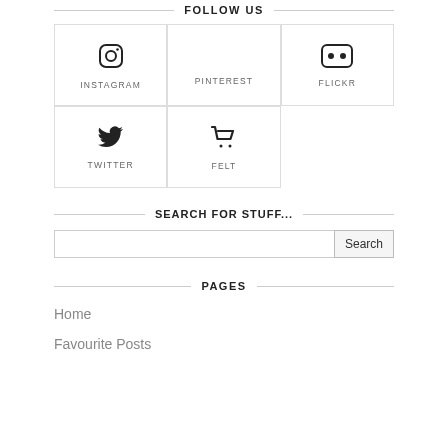FOLLOW US
[Figure (infographic): 3x2 grid of social media links: Instagram (icon+label), Pinterest (label only), Flickr (icon+label), Twitter (icon+label), Felt (icon+label)]
SEARCH FOR STUFF...
[Figure (screenshot): Search input box with Search button]
PAGES
Home
Favourite Posts